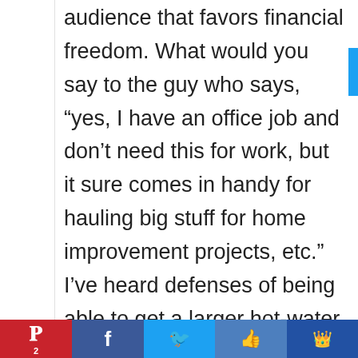audience that favors financial freedom. What would you say to the guy who says, “yes, I have an office job and don’t need this for work, but it sure comes in handy for hauling big stuff for home improvement projects, etc.” I’ve heard defenses of being able to get a larger hot-water heater, etc. because they had a truck instead of
[Figure (other): Social sharing bar with Pinterest, Facebook, Twitter, thumbs-up, and crown icons]